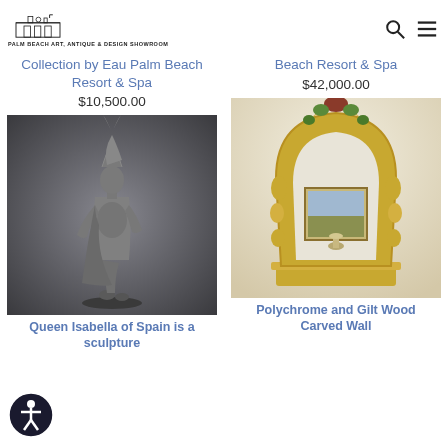[Figure (logo): Palm Beach Art Antique & Design Showroom logo with building illustration and text]
Collection by Eau Palm Beach Resort & Spa
$10,500.00
Beach Resort & Spa
$42,000.00
[Figure (photo): Silver/dark metal sculpture of Queen Isabella of Spain standing figure]
[Figure (photo): Polychrome and gilt wood carved wall mirror with decorative floral frame, reflecting a painting and lamp]
Queen Isabella of Spain is a sculpture
Polychrome and Gilt Wood Carved Wall